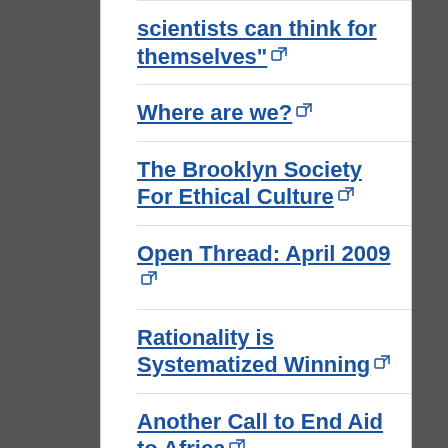scientists can think for themselves"
Where are we?
The Brooklyn Society For Ethical Culture
Open Thread: April 2009
Rationality is Systematized Winning
Another Call to End Aid to Africa
First London Rationalist Meeting